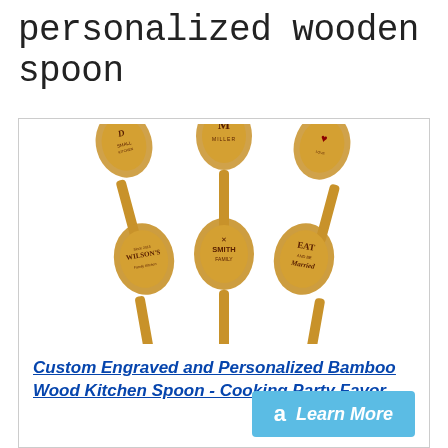personalized wooden spoon
[Figure (photo): Six personalized engraved bamboo wooden spoons arranged in two rows of three, each with different custom engravings including family names and logos such as MILLER, WILSON'S, SMITH FAMILY, and others.]
Custom Engraved and Personalized Bamboo Wood Kitchen Spoon - Cooking Party Favor
Learn More